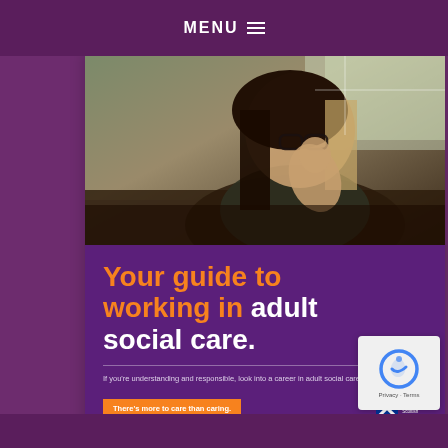MENU
[Figure (photo): Young woman with glasses sitting on a sofa, resting her chin on her hand, looking to the side. Dark background with natural light from a window.]
Your guide to working in adult social care.
If you're understanding and responsible, look into a career in adult social care at CaretoCare.scot
There's more to care than caring.
[Figure (logo): Fairer Scotland Scottish Government logo with saltire flag icon]
[Figure (other): reCAPTCHA widget overlay with Privacy and Terms links]